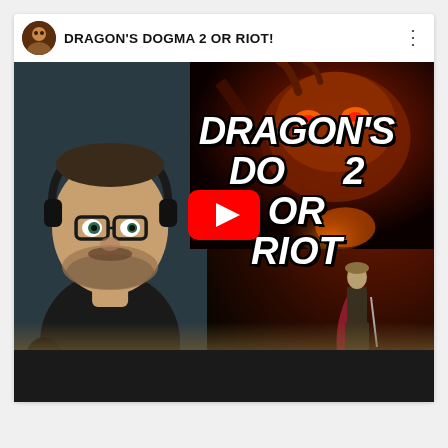[Figure (screenshot): YouTube video card showing a thumbnail for 'DRAGON'S DOGMA 2 OR RIOT!' featuring a man with glasses and headphones on the left, bold white italic text reading DRAGON'S DOGMA 2 OR RIOT in center, a YouTube play button overlay, a dragon in background top right, and a warrior silhouette bottom right. The card has the video title in the header bar.]